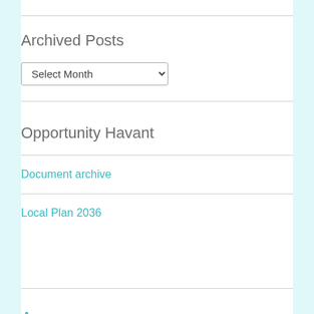Archived Posts
[Figure (screenshot): A dropdown selector UI element labeled 'Select Month']
Opportunity Havant
Document archive
Local Plan 2036
Amazon  Bedhampton  East Street  Eyesore  FoHC  Gosport...